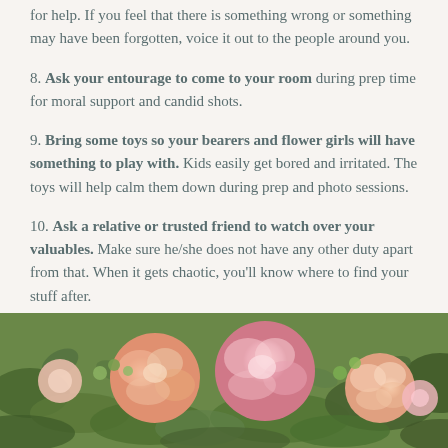for help. If you feel that there is something wrong or something may have been forgotten, voice it out to the people around you.
8. Ask your entourage to come to your room during prep time for moral support and candid shots.
9. Bring some toys so your bearers and flower girls will have something to play with. Kids easily get bored and irritated. The toys will help calm them down during prep and photo sessions.
10. Ask a relative or trusted friend to watch over your valuables. Make sure he/she does not have any other duty apart from that. When it gets chaotic, you'll know where to find your stuff after.
[Figure (photo): Close-up photo of floral arrangement featuring pink and peach roses with green leaves]